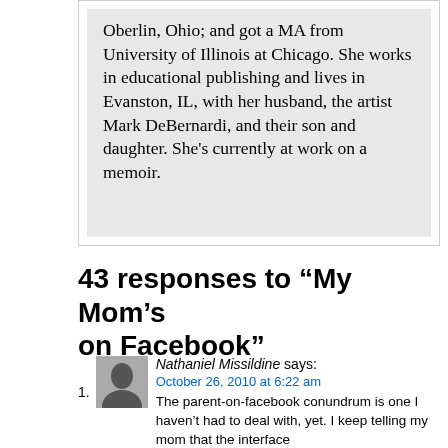Oberlin, Ohio; and got a MA from University of Illinois at Chicago. She works in educational publishing and lives in Evanston, IL, with her husband, the artist Mark DeBernardi, and their son and daughter. She's currently at work on a memoir.
43 responses to “My Mom’s on Facebook”
[Figure (photo): Small black and white portrait photo of Nathaniel Missildine]
Nathaniel Missildine says:
October 26, 2010 at 6:22 am
The parent-on-facebook conundrum is one I haven’t had to deal with, yet. I keep telling my mom that the interface